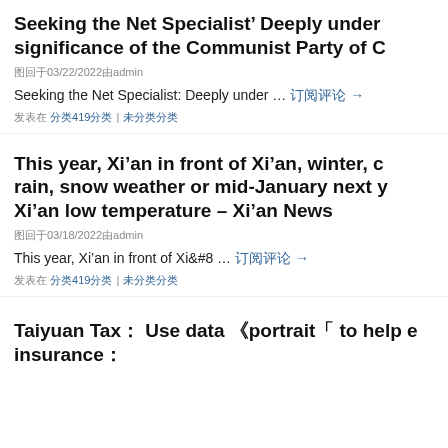Seeking the Net Specialist’ Deeply under significance of the Communist Party of C
图回佀03/22/2022由admin
Seeking the Net Specialist: Deeply under … 订阅评论 →
发表在 分类419分类 | 未分类分类
This year, Xi’an in front of Xi’an, winter, c rain, snow weather or mid-January next y Xi’an low temperature – Xi’an News
图回佀03/18/2022由admin
This year, Xi’an in front of Xi&#8 … 订阅评论 →
发表在 分类419分类 | 未分类分类
Taiyuan Tax： Use data 》portrait「 to help e insurance：